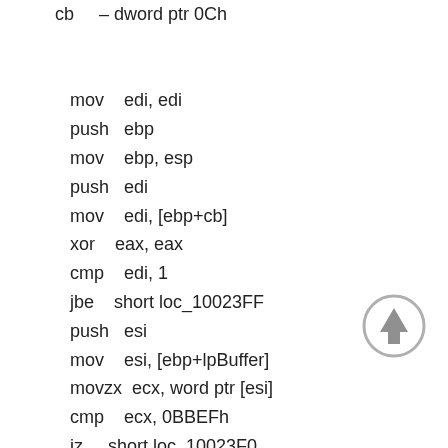cb     – dword ptr 0Ch

   mov     edi, edi
   push    ebp
   mov     ebp, esp
   push    edi
   mov     edi, [ebp+cb]
   xor     eax, eax
   cmp     edi, 1
   jbe     short loc_10023FF
   push    esi
   mov     esi, [ebp+lpBuffer]
   movzx   ecx, word ptr [esi]
   cmp     ecx, 0BBEFh
   jz      short loc_10023F0
   cmp     ecx, 0FEFFh
   jz      short loc_10023D7
   cmp     ecx, 0FEFFh
[Figure (other): Up arrow navigation button (circle with upward-pointing arrow)]